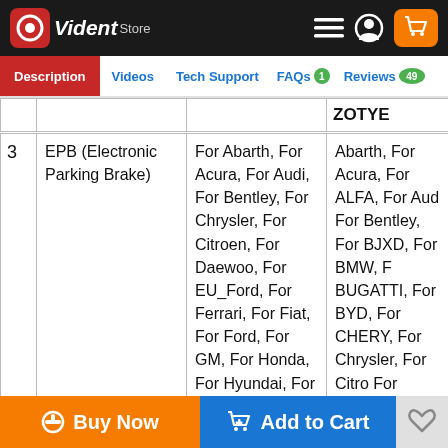Vident Store — top navigation bar with menu, user, and cart icons
Description | Videos | Tech Support | FAQs 1 | Reviews 49
| # | Function | Column 3 | Column 4 |
| --- | --- | --- | --- |
|  |  | ZOTYE |  |
| 3 | EPB (Electronic Parking Brake) | For Abarth, For Acura, For Audi, For Bentley, For Chrysler, For Citroen, For Daewoo, For EU_Ford, For Ferrari, For Fiat, For Ford, For GM, For Honda, For Hyundai, For | Abarth, For Acura, For ALFA, For Audi, For Bentley, For BJXD, For BMW, For BUGATTI, For BYD, For CHERY, For Chrysler, For Citroën, For Daewoo, For DFCITROEN, For DFHONDA, For DFPEUGEOT, For FAW-BESTURN, For Ferrari, For Fiat, Fo |
Buy Now | Add to Cart | Wishlist